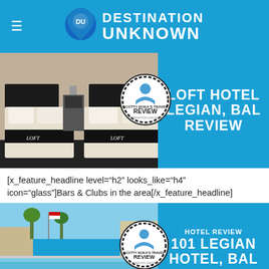DESTINATION UNKNOWN
[Figure (photo): Hotel room with two beds with black and white bedding, Loft Hotel Legian Bali Review banner]
[x_feature_headline level="h2" looks_like="h4" icon="glass"]Bars & Clubs in the area[/x_feature_headline]
[Figure (photo): Rooftop pool with blue sky and palm trees, Hotel Review 101 Legian Hotel Bali banner]